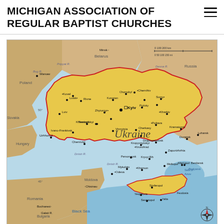MICHIGAN ASSOCIATION OF REGULAR BAPTIST CHURCHES
[Figure (map): Map of Ukraine and surrounding countries including Poland, Belarus, Russia, Romania, Bulgaria, Moldova, Hungary, Slovakia. Ukraine is highlighted in yellow/gold with a red border. Cities including Kyiv, Kharkiv, Lviv, Odesa, Dnipropetrovsk, and many others are labeled. Neighboring countries shown in brown/tan tones. Bodies of water including Black Sea and Sea of Azov shown in light blue. Map includes a scale and compass rose.]